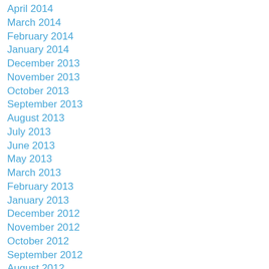April 2014
March 2014
February 2014
January 2014
December 2013
November 2013
October 2013
September 2013
August 2013
July 2013
June 2013
May 2013
March 2013
February 2013
January 2013
December 2012
November 2012
October 2012
September 2012
August 2012